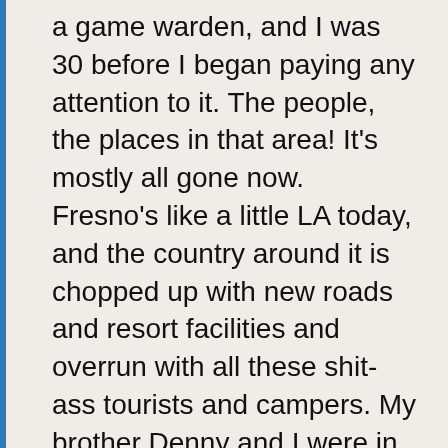a game warden, and I was 30 before I began paying any attention to it. The people, the places in that area! It's mostly all gone now. Fresno's like a little LA today, and the country around it is chopped up with new roads and resort facilities and overrun with all these shit-ass tourists and campers. My brother Denny and I were in on the last of it. A lot of the